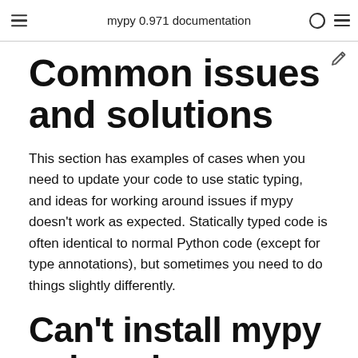mypy 0.971 documentation
Common issues and solutions
This section has examples of cases when you need to update your code to use static typing, and ideas for working around issues if mypy doesn't work as expected. Statically typed code is often identical to normal Python code (except for type annotations), but sometimes you need to do things slightly differently.
Can't install mypy using pip